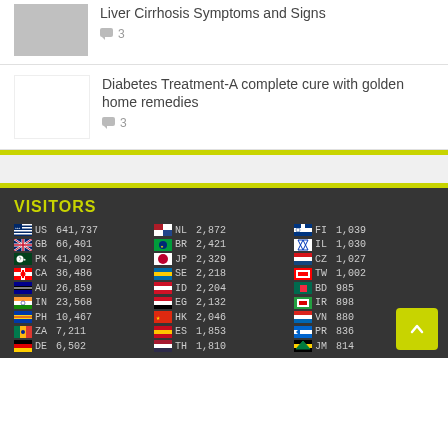[Figure (photo): Thumbnail image placeholder (gray)]
Liver Cirrhosis Symptoms and Signs
💬 3
Diabetes Treatment-A complete cure with golden home remedies
💬 3
VISITORS
| Flag | Country | Count | Flag | Country | Count | Flag | Country | Count |
| --- | --- | --- | --- | --- | --- | --- | --- | --- |
| US | 641,737 | NL | 2,872 | FI | 1,039 |
| GB | 66,401 | BR | 2,421 | IL | 1,030 |
| PK | 41,092 | JP | 2,329 | CZ | 1,027 |
| CA | 36,486 | SE | 2,218 | TW | 1,002 |
| AU | 26,859 | ID | 2,204 | BD | 985 |
| IN | 23,568 | EG | 2,132 | IR | 898 |
| PH | 10,467 | HK | 2,046 | VN | 880 |
| ZA | 7,211 | ES | 1,853 | PR | 836 |
| DE | 6,502 | TH | 1,810 | JM | 814 |